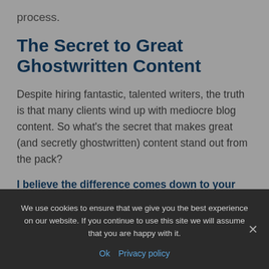process.
The Secret to Great Ghostwritten Content
Despite hiring fantastic, talented writers, the truth is that many clients wind up with mediocre blog content. So what's the secret that makes great (and secretly ghostwritten) content stand out from the pack?
I believe the difference comes down to your relationship with your ghostwriter.
lot of work off you… can't do it all alone. It's so important for you, as the client,
We use cookies to ensure that we give you the best experience on our website. If you continue to use this site we will assume that you are happy with it.
Ok   Privacy policy